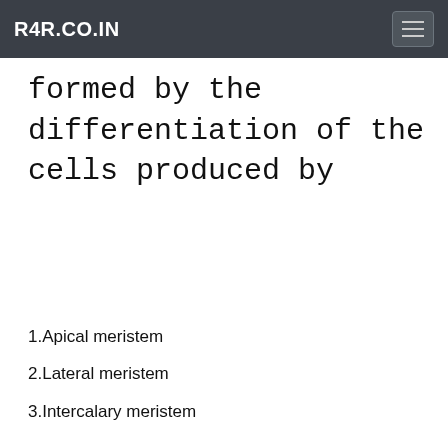R4R.CO.IN
formed by the differentiation of the cells produced by
1.Apical meristem
2.Lateral meristem
3.Intercalary meristem